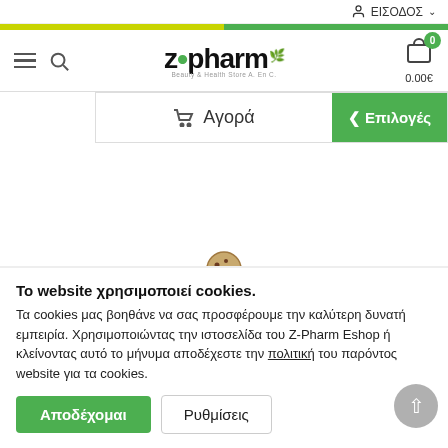ΕΙΣΟΔΟΣ
[Figure (logo): z-pharm Beauty & Health Store A.E.C. logo with green leaf]
🛒 Αγορά
< Επιλογές
Το website χρησιμοποιεί cookies.
Τα cookies μας βοηθάνε να σας προσφέρουμε την καλύτερη δυνατή εμπειρία. Χρησιμοποιώντας την ιστοσελίδα του Z-Pharm Eshop ή κλείνοντας αυτό το μήνυμα αποδέχεστε την πολιτική του παρόντος website για τα cookies.
Αποδέχομαι
Ρυθμίσεις